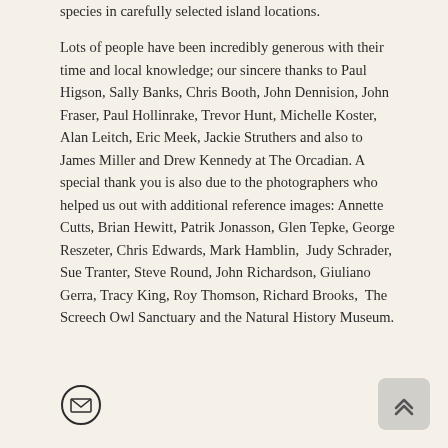species in carefully selected island locations.
Lots of people have been incredibly generous with their time and local knowledge; our sincere thanks to Paul Higson, Sally Banks, Chris Booth, John Dennision, John Fraser, Paul Hollinrake, Trevor Hunt, Michelle Koster, Alan Leitch, Eric Meek, Jackie Struthers and also to James Miller and Drew Kennedy at The Orcadian. A special thank you is also due to the photographers who helped us out with additional reference images: Annette Cutts, Brian Hewitt, Patrik Jonasson, Glen Tepke, George Reszeter, Chris Edwards, Mark Hamblin,  Judy Schrader, Sue Tranter, Steve Round, John Richardson, Giuliano Gerra, Tracy King, Roy Thomson, Richard Brooks,  The Screech Owl Sanctuary and the Natural History Museum.
[Figure (other): Small circular icon with an envelope/letter symbol inside]